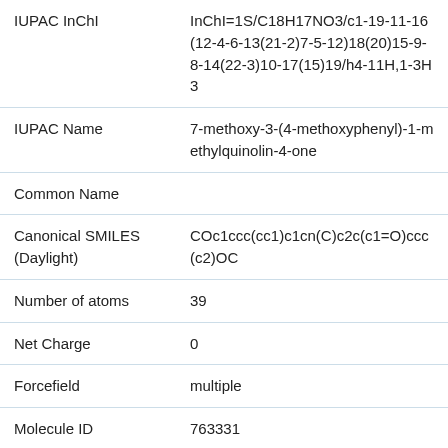| Property | Value |
| --- | --- |
| IUPAC InChI | InChI=1S/C18H17NO3/c1-19-11-16(12-4-6-13(21-2)7-5-12)18(20)15-9-8-14(22-3)10-17(15)19/h4-11H,1-3H3 |
| IUPAC Name | 7-methoxy-3-(4-methoxyphenyl)-1-methylquinolin-4-one |
| Common Name |  |
| Canonical SMILES (Daylight) | COc1ccc(cc1)c1cn(C)c2c(c1=O)ccc(c2)OC |
| Number of atoms | 39 |
| Net Charge | 0 |
| Forcefield | multiple |
| Molecule ID | 763331 |
| ChEMBL ID | 3326302 |
| Visibility | Public |